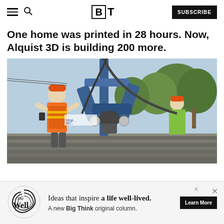BT - Big Think | SUBSCRIBE
One home was printed in 28 hours. Now, Alquist 3D is building 200 more.
[Figure (photo): A construction worker in an orange hard hat and safety vest operates a large blue 3D printing robotic arm that is extruding layers of concrete on a construction site, with trees and equipment visible in the background. Another worker in a yellow vest is visible to the right.]
[Figure (photo): Advertisement banner: The Well - Ideas that inspire a life well-lived. A new Big Think original column. Learn More button.]